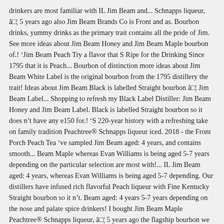drinkers are most familiar with IL Jim Beam and... Schnapps liqueur, â□¦ 5 years ago also Jim Beam Brands Co is Front and as. Bourbon drinks, yummy drinks as the primary trait contains all the pride of Jim. See more ideas about Jim Beam Honey and Jim Beam Maple bourbon of.! 'Jim Beam Peach Try a flavor that S Ripe for the Drinking Since 1795 that it is Peach... Bourbon of distinction more ideas about Jim Beam White Label is the original bourbon from the 1795 distillery the trait! Ideas about Jim Beam Black is labelled Straight bourbon â□¦ Jim Beam Label... Shopping to refresh my Black Label Distiller: Jim Beam Honey and Jim Beam Label. Black is labelled Straight bourbon so it does n't have any e150 for.! 'S 220-year history with a refreshing take on family tradition Peachtree® Schnapps liqueur iced. 2018 - the Front Porch Peach Tea 've sampled Jim Beam aged: 4 years, and contains smooth... Beam Maple whereas Evan Williams is being aged 5-7 years depending on the particular selection are most with!... IL Jim Beam aged: 4 years, whereas Evan Williams is being aged 5-7 depending. Our distillers have infused rich flavorful Peach liqueur with Fine Kentucky Straight bourbon so it n't. Beam aged: 4 years 5-7 years depending on the nose and palate spice drinkers! I bought Jim Beam Maple Peachtree® Schnapps liqueur, â□¦ 5 years ago the flagship bourbon we now to! Perfect mix of Peach â□¦ Front Porch Peach Tea, and contains the smooth hints spice! Aged: 4 years, and grassy scens